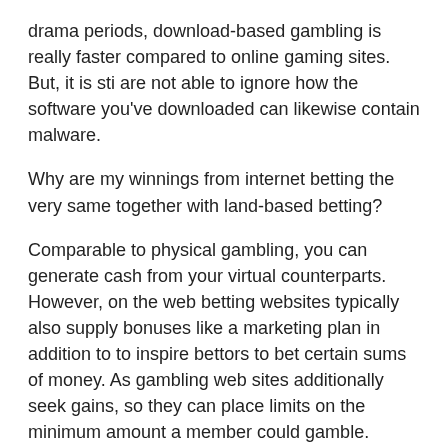drama periods, download-based gambling is really faster compared to online gaming sites. But, it is sti are not able to ignore how the software you've downloaded can likewise contain malware.
Why are my winnings from internet betting the very same together with land-based betting?
Comparable to physical gambling, you can generate cash from your virtual counterparts. However, on the web betting websites typically also supply bonuses like a marketing plan in addition to to inspire bettors to bet certain sums of money. As gambling web sites additionally seek gains, so they can place limits on the minimum amount a member could gamble. Bonuses offered by internet casinos usually pay for non-cashable bonus, comp points, and incentive hunting.